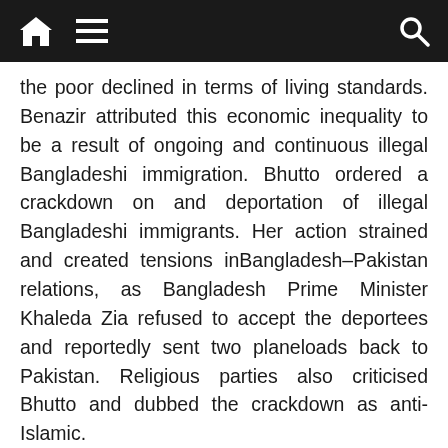Navigation bar with home, menu, and search icons
the poor declined in terms of living standards. Benazir attributed this economic inequality to be a result of ongoing and continuous illegal Bangladeshi immigration. Bhutto ordered a crackdown on and deportation of illegal Bangladeshi immigrants. Her action strained and created tensions inBangladesh–Pakistan relations, as Bangladesh Prime Minister Khaleda Zia refused to accept the deportees and reportedly sent two planeloads back to Pakistan. Religious parties also criticised Bhutto and dubbed the crackdown as anti-Islamic.
This operation backfired and had devastating effects on Pakistan's economy. President Khan saw this as a major economic failure despite Khan's permission granted to Bhutto for the approval of her economic policies. Khan